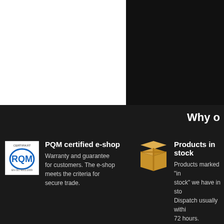[Figure (other): Top split layout: left half white background, right half black background]
Why o
[Figure (logo): PQM Certifikat badge - square certification logo with blue RQM text]
PQM certified e-shop
Warranty and guarantee for customers. The e-shop meets the criteria for secure trade.
[Figure (illustration): Brown cardboard box / package icon]
Products in stock
Products marked "in stock" we have in stock. Dispatch usually within 72 hours.